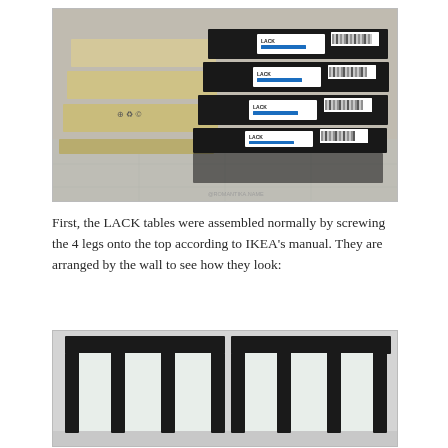[Figure (photo): Four flat-packed IKEA LACK table boxes stacked on a tiled floor, showing the product labels with barcodes on the black boxes and cardboard visible on the left side. A watermark reads @ROMANTIKA.NAME.]
First, the LACK tables were assembled normally by screwing the 4 legs onto the top according to IKEA's manual. They are arranged by the wall to see how they look:
[Figure (photo): Two black IKEA LACK tables placed side by side upside down against a white wall, showing the legs pointing upward, creating a grid-like frame structure.]